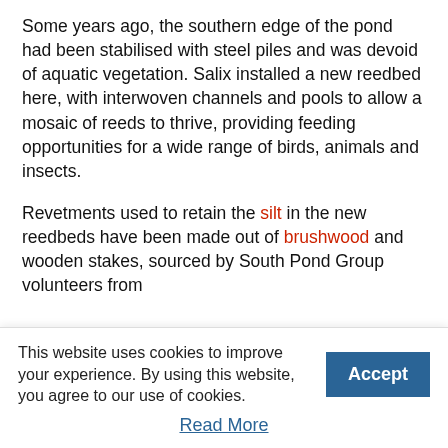Some years ago, the southern edge of the pond had been stabilised with steel piles and was devoid of aquatic vegetation. Salix installed a new reedbed here, with interwoven channels and pools to allow a mosaic of reeds to thrive, providing feeding opportunities for a wide range of birds, animals and insects.
Revetments used to retain the silt in the new reedbeds have been made out of brushwood and wooden stakes, sourced by South Pond Group volunteers from
This website uses cookies to improve your experience. By using this website, you agree to our use of cookies.
Read More